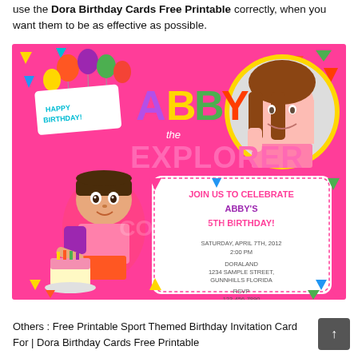use the Dora Birthday Cards Free Printable correctly, when you want them to be as effective as possible.
[Figure (photo): A Dora the Explorer themed birthday party invitation card with hot pink background, colorful balloons, the text 'Abby the Explorer', 'JOIN US TO CELEBRATE ABBY'S 5TH BIRTHDAY!', date Saturday April 7th 2012 2:00 PM, location Doraland 1234 Sample Street Gunnhills Florida, RSVP 123-456-7890, featuring Dora cartoon character holding a birthday cake on the left and a photo of a smiling girl in a yellow circle on the upper right.]
Others : Free Printable Sport Themed Birthday Invitation Card For | Dora Birthday Cards Free Printable